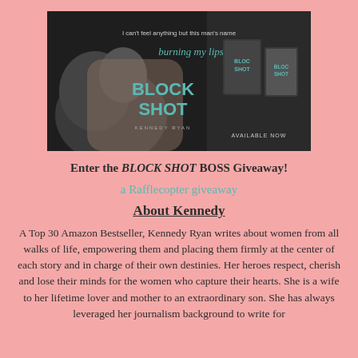[Figure (illustration): Book banner for 'Block Shot' by Kennedy Ryan showing a dramatic black and white photo of a couple, with book cover images and text reading 'I can't feel anything but this man's name burning my lips', 'BLOCK SHOT', 'KENNEDY RYAN', 'AVAILABLE NOW']
Enter the BLOCK SHOT BOSS Giveaway!
a Rafflecopter giveaway
About Kennedy
A Top 30 Amazon Bestseller, Kennedy Ryan writes about women from all walks of life, empowering them and placing them firmly at the center of each story and in charge of their own destinies. Her heroes respect, cherish and lose their minds for the women who capture their hearts. She is a wife to her lifetime lover and mother to an extraordinary son. She has always leveraged her journalism background to write for